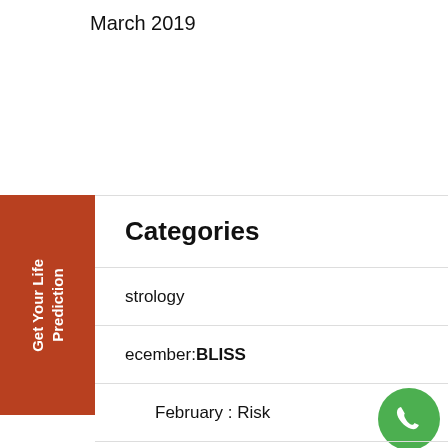March 2019
Categories
Astrology
December: BLISS
February : Risk
Geometric Signs
JANUARY: Inner-self
[Figure (illustration): Orange sidebar button with rotated white text 'Get Your Life Prediction']
[Figure (illustration): Green phone/call icon circle button]
[Figure (illustration): Green WhatsApp icon button]